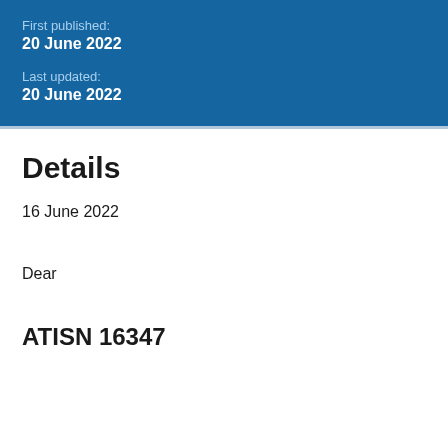First published:
20 June 2022
Last updated:
20 June 2022
Details
16 June 2022
Dear
ATISN 16347